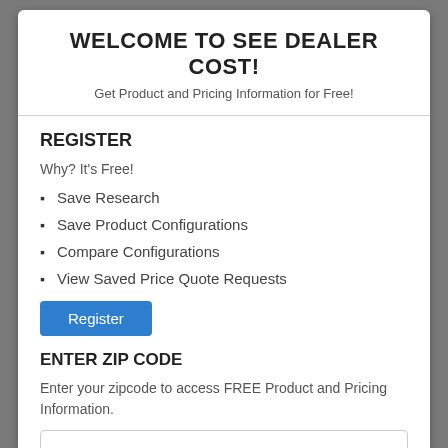WELCOME TO SEE DEALER COST!
Get Product and Pricing Information for Free!
REGISTER
Why? It's Free!
Save Research
Save Product Configurations
Compare Configurations
View Saved Price Quote Requests
Register
ENTER ZIP CODE
Enter your zipcode to access FREE Product and Pricing Information.